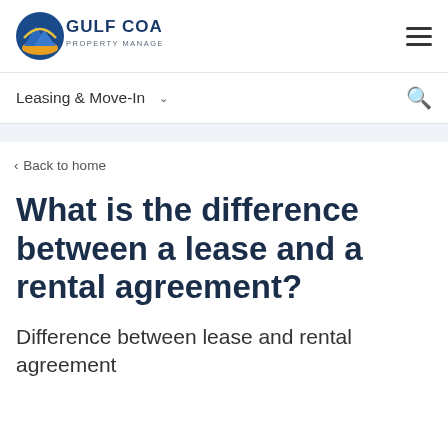[Figure (logo): Gulf Coast Property Management logo with mountain/sun icon and blue text]
Leasing & Move-In
< Back to home
What is the difference between a lease and a rental agreement?
Difference between lease and rental agreement